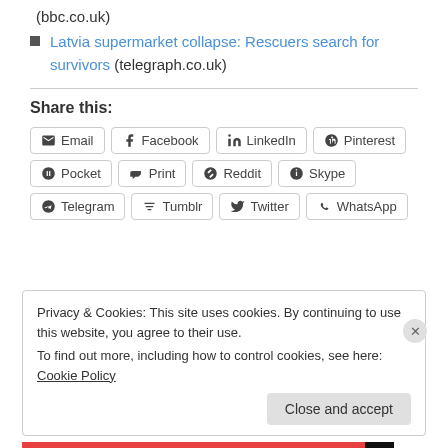(bbc.co.uk)
Latvia supermarket collapse: Rescuers search for survivors (telegraph.co.uk)
Share this:
Email | Facebook | LinkedIn | Pinterest | Pocket | Print | Reddit | Skype | Telegram | Tumblr | Twitter | WhatsApp
Privacy & Cookies: This site uses cookies. By continuing to use this website, you agree to their use. To find out more, including how to control cookies, see here: Cookie Policy
Close and accept